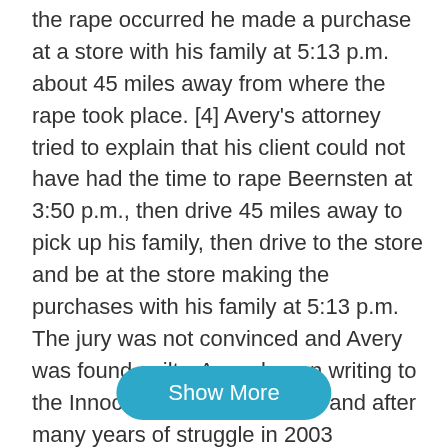the rape occurred he made a purchase at a store with his family at 5:13 p.m. about 45 miles away from where the rape took place. [4] Avery's attorney tried to explain that his client could not have had the time to rape Beernsten at 3:50 p.m., then drive 45 miles away to pick up his family, then drive to the store and be at the store making the purchases with his family at 5:13 p.m. The jury was not convinced and Avery was found guilty. Avery began writing to the Innocence Project in 1995 and after many years of struggle in 2003 scrapings of fingernails of Beernsten that were collected on the day of the rape were DNA tested and did not show any connections to Avery but it did show connections to someone who looked similar to Avery and that has been serving a 60 year sentence since a little
Show More